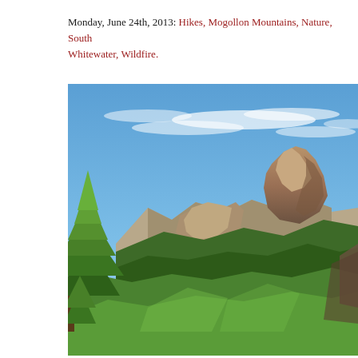Monday, June 24th, 2013: Hikes, Mogollon Mountains, Nature, South Whitewater, Wildfire.
[Figure (photo): Landscape photo of the Mogollon Mountains showing rocky peaks, blue sky with wispy clouds, pine trees in the foreground on the left, and dense forest on the hillsides below the rocky cliffs.]